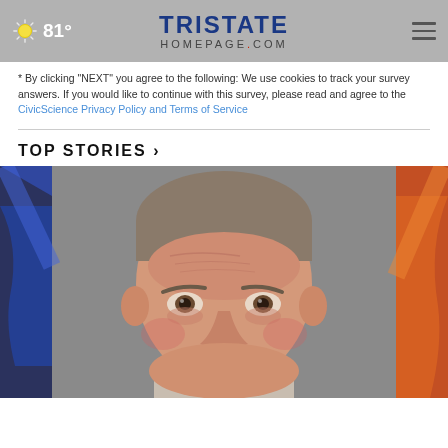81° | TriState HOMEPAGE.com
* By clicking "NEXT" you agree to the following: We use cookies to track your survey answers. If you would like to continue with this survey, please read and agree to the CivicScience Privacy Policy and Terms of Service
TOP STORIES ›
[Figure (photo): Mugshot photo of a middle-aged heavyset man with short gray-brown hair, reddish face, against a gray background. Blue and orange TV station graphics visible on the left and right edges.]